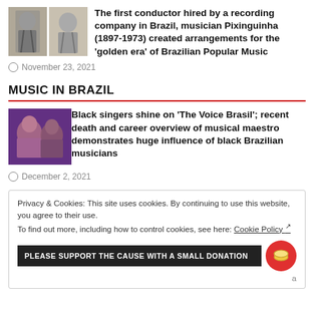[Figure (photo): Two black and white photos of musician Pixinguinha side by side]
The first conductor hired by a recording company in Brazil, musician Pixinguinha (1897-1973) created arrangements for the ‘golden era’ of Brazilian Popular Music
November 23, 2021
MUSIC IN BRAZIL
[Figure (photo): Photo of two Black singers, a woman and a man]
Black singers shine on ‘The Voice Brasil’; recent death and career overview of musical maestro demonstrates huge influence of black Brazilian musicians
December 2, 2021
Privacy & Cookies: This site uses cookies. By continuing to use this website, you agree to their use.
To find out more, including how to control cookies, see here: Cookie Policy ↗
PLEASE SUPPORT THE CAUSE WITH A SMALL DONATION